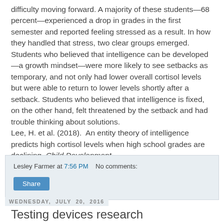difficulty moving forward. A majority of these students—68 percent—experienced a drop in grades in the first semester and reported feeling stressed as a result. In how they handled that stress, two clear groups emerged. Students who believed that intelligence can be developed—a growth mindset—were more likely to see setbacks as temporary, and not only had lower overall cortisol levels but were able to return to lower levels shortly after a setback. Students who believed that intelligence is fixed, on the other hand, felt threatened by the setback and had trouble thinking about solutions.
Lee, H. et al. (2018).  An entity theory of intelligence predicts high cortisol levels when high school grades are declining. Child Development. https://doi.org/10.1111/cdev.13116
Lesley Farmer at 7:56 PM   No comments:
Share
Wednesday, July 20, 2016
Testing devices research